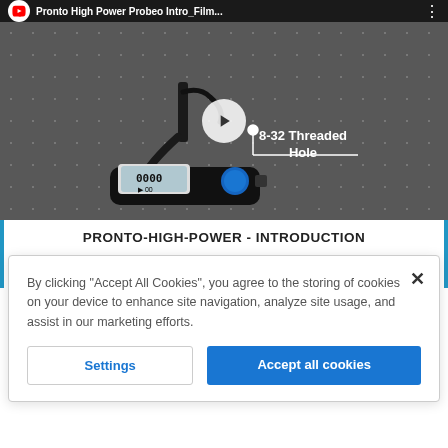[Figure (screenshot): Video thumbnail showing a Pronto High Power laser probe/sensor device on an optical breadboard with threaded holes. The device is black with a small display and blue button. An annotation arrow points to '8-32 Threaded Hole'. A play button is visible in the center. The top bar shows 'Pronto High Power Probeo Intro_Film...' with a YouTube-style icon.]
PRONTO-HIGH-POWER - INTRODUCTION
By clicking "Accept All Cookies", you agree to the storing of cookies on your device to enhance site navigation, analyze site usage, and assist in our marketing efforts.